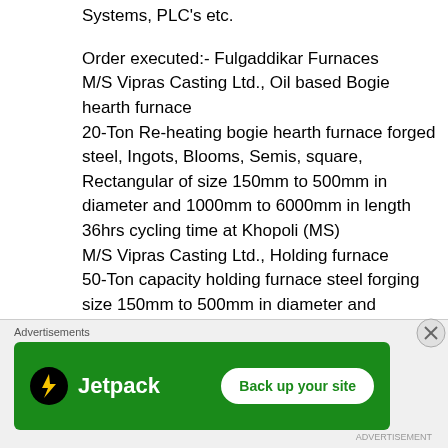Systems, PLC's etc.
Order executed:- Fulgaddikar Furnaces
M/S Vipras Casting Ltd., Oil based Bogie hearth furnace
20-Ton Re-heating bogie hearth furnace forged steel, Ingots, Blooms, Semis, square, Rectangular of size 150mm to 500mm in diameter and 1000mm to 6000mm in length
36hrs cycling time at Khopoli (MS)
M/S Vipras Casting Ltd., Holding furnace
50-Ton capacity holding furnace steel forging size 150mm to 500mm in diameter and 1000mm
[Figure (screenshot): Jetpack advertisement banner with 'Back up your site' button on green background]